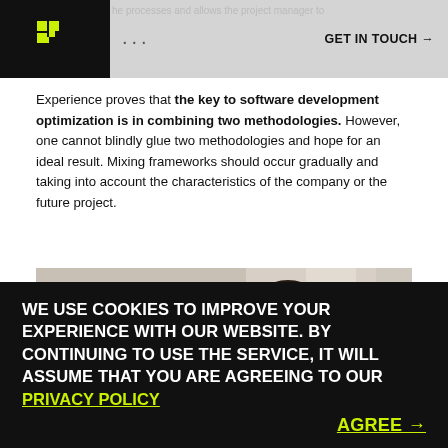the processes and allows the project manager to ... GET IN TOUCH →
Experience proves that the key to software development optimization is in combining two methodologies. However, one cannot blindly glue two methodologies and hope for an ideal result. Mixing frameworks should occur gradually and taking into account the characteristics of the company or the future project.
[Figure (photo): Two people in conversation, one with dark hair seen from behind, one with curly dark hair in profile, in a blurred indoor setting.]
WE USE COOKIES TO IMPROVE YOUR EXPERIENCE WITH OUR WEBSITE. BY CONTINUING TO USE THE SERVICE, IT WILL ASSUME THAT YOU ARE AGREEING TO OUR PRIVACY POLICY AGREE →